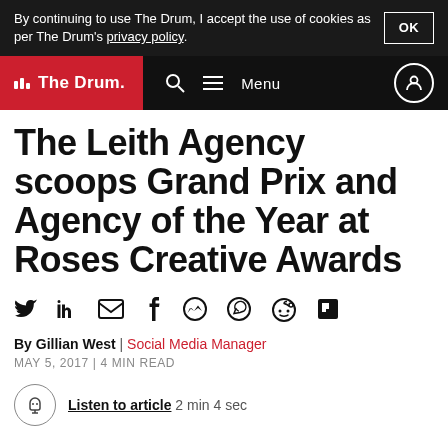By continuing to use The Drum, I accept the use of cookies as per The Drum's privacy policy.
The Drum — Menu — User icon
The Leith Agency scoops Grand Prix and Agency of the Year at Roses Creative Awards
[Figure (other): Social media sharing icons: Twitter, LinkedIn, Email, Facebook, Messenger, WhatsApp, Reddit, Flipboard]
By Gillian West | Social Media Manager
MAY 5, 2017 | 4 MIN READ
Listen to article 2 min 4 sec